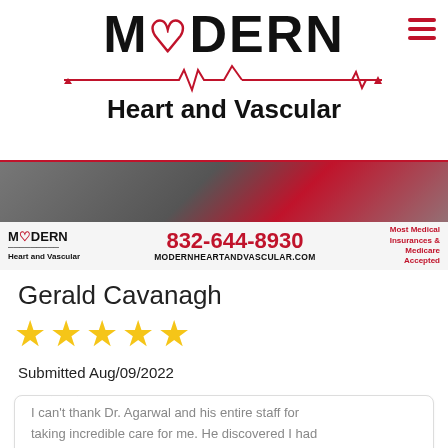[Figure (logo): Modern Heart and Vascular logo with ECG line and heart symbol]
[Figure (photo): Medical staff banner image with phone number 832-644-8930, website MODERNHEARTANDVASCULAR.COM, and text 'Most Medical Insurances & Medicare Accepted']
Gerald Cavanagh
[Figure (infographic): 5 yellow star rating]
Submitted Aug/09/2022
I can't thank Dr. Agarwal and his entire staff for taking incredible care for me. He discovered I had